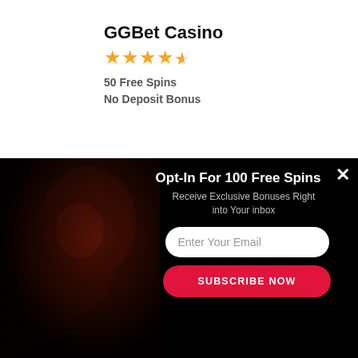GGBet Casino
★★★★½
50 Free Spins
No Deposit Bonus
Lemon Casino
★★★★½
20 Free Spins
No Deposit Bonus
[Figure (logo): Mailmunch logo badge with blue M icon and text 'mailmunch']
[Figure (infographic): Email opt-in popup overlay on dark horror-themed background. Title: 'Opt-In For 100 Free Spins'. Subtitle: 'Receive Exclusive Bonuses Right into Your inbox'. Email input field labeled 'Enter Your Email'. Red button labeled 'SUBSCRIBE NOW'. Close X button top right.]